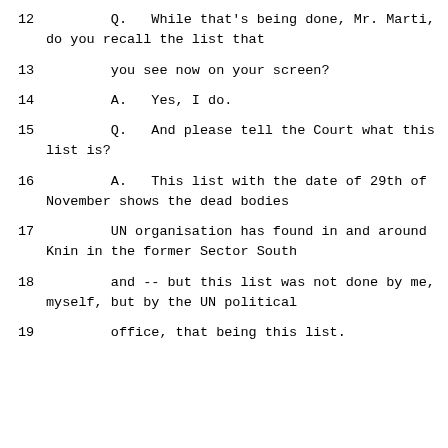12        Q.   While that's being done, Mr. Marti, do you recall the list that
13        you see now on your screen?
14        A.   Yes, I do.
15        Q.   And please tell the Court what this list is?
16        A.   This list with the date of 29th of November shows the dead bodies
17        UN organisation has found in and around Knin in the former Sector South
18        and -- but this list was not done by me, myself, but by the UN political
19        office, that being this list.